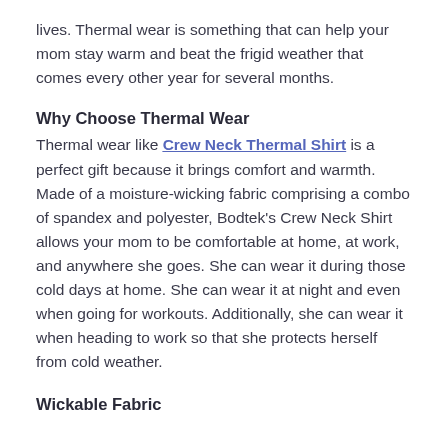lives. Thermal wear is something that can help your mom stay warm and beat the frigid weather that comes every other year for several months.
Why Choose Thermal Wear
Thermal wear like Crew Neck Thermal Shirt is a perfect gift because it brings comfort and warmth. Made of a moisture-wicking fabric comprising a combo of spandex and polyester, Bodtek’s Crew Neck Shirt allows your mom to be comfortable at home, at work, and anywhere she goes. She can wear it during those cold days at home. She can wear it at night and even when going for workouts. Additionally, she can wear it when heading to work so that she protects herself from cold weather.
Wickable Fabric